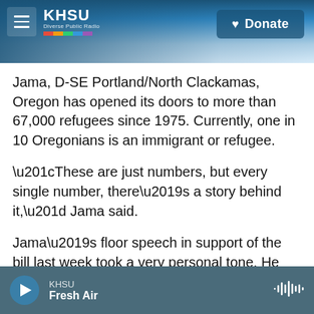[Figure (screenshot): KHSU radio station website header with coastal Oregon landscape photo background, hamburger menu button, KHSU logo with rainbow stripe, and Donate button]
Jama, D-SE Portland/North Clackamas, Oregon has opened its doors to more than 67,000 refugees since 1975. Currently, one in 10 Oregonians is an immigrant or refugee.
“These are just numbers, but every single number, there’s a story behind it,” Jama said.
Jama’s floor speech in support of the bill last week took a very personal tone. He spoke about his own story of leaving war-torn Somalia and landing in Oregon 22 years ago with little direction, few belongings and not a lot of money in his pockets.
KHSU Fresh Air